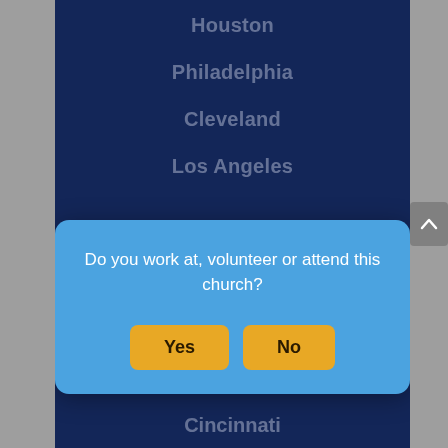Houston
Philadelphia
Cleveland
Los Angeles
[Figure (screenshot): Modal dialog box with light blue background asking 'Do you work at, volunteer or attend this church?' with Yes and No buttons in golden/amber color]
Indianapolis
Detroit
Cincinnati
Pittsburgh
Jacksonville